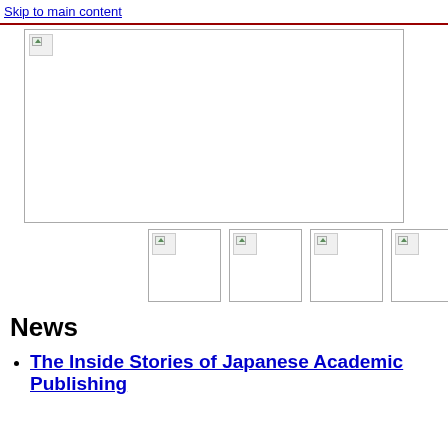Skip to main content
[Figure (photo): Large main banner image (broken/not loaded), displayed as placeholder with icon]
[Figure (photo): Thumbnail image 1 (broken/not loaded)]
[Figure (photo): Thumbnail image 2 (broken/not loaded)]
[Figure (photo): Thumbnail image 3 (broken/not loaded)]
[Figure (photo): Thumbnail image 4 (broken/not loaded)]
News
The Inside Stories of Japanese Academic Publishing